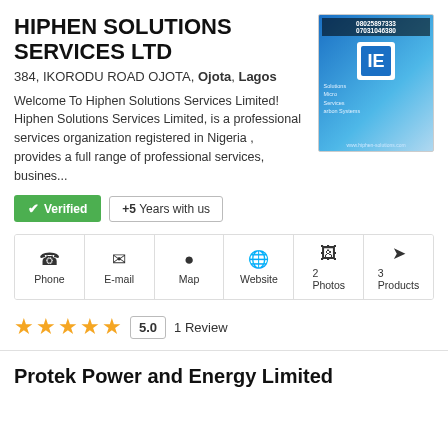HIPHEN SOLUTIONS SERVICES LTD
384, IKORODU ROAD OJOTA, Ojota, Lagos
Welcome To Hiphen Solutions Services Limited! Hiphen Solutions Services Limited, is a professional services organization registered in Nigeria , provides a full range of professional services, busines...
[Figure (photo): Company promotional image with phone numbers and logo for Hiphen Solutions]
Verified  +5  Years with us
Phone  E-mail  Map  Website  2 Photos  3 Products
5.0  1 Review
Protek Power and Energy Limited